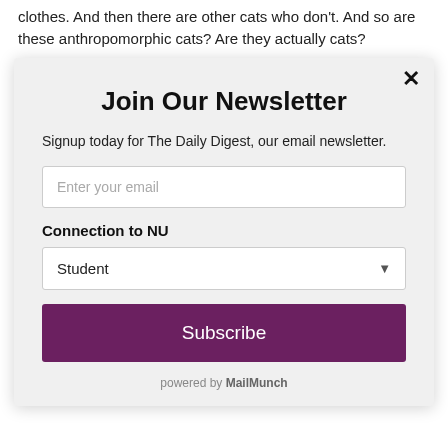clothes. And then there are other cats who don't. And so are these anthropomorphic cats? Are they actually cats?
SARRAE: Yeah, I think if the...
Join Our Newsletter
Signup today for The Daily Digest, our email newsletter.
Enter your email
Connection to NU
Student
Subscribe
powered by MailMunch